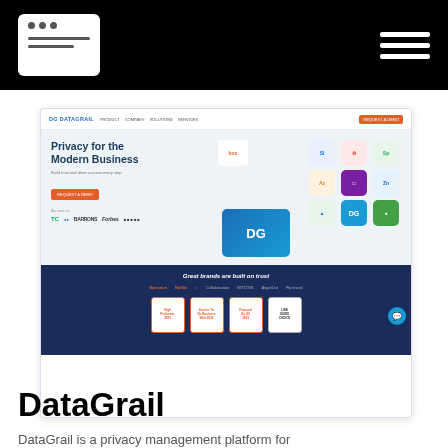[Figure (screenshot): DataGrail website screenshot showing 'Privacy for the Modern Business' hero section with navigation, media logos (TechCrunch, Barrons, Forbes), app integration icons, and a dark blue trust banner with brand logos and G2 award badges]
DataGrail
DataGrail is a privacy management platform for...